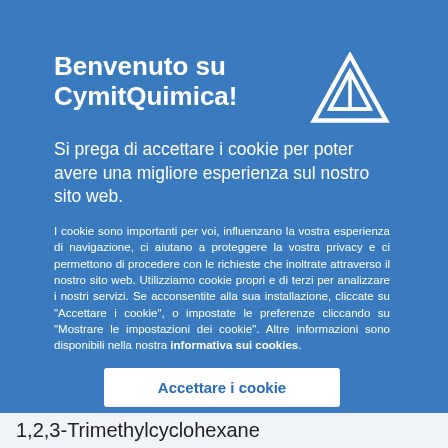Benvenuto su CymitQuimica!
Si prega di accettare i cookie per poter avere una migliore esperienza sul nostro sito web.
I cookie sono importanti per voi, influenzano la vostra esperienza di navigazione, ci aiutano a proteggere la vostra privacy e ci permettono di procedere con le richieste che inoltrate attraverso il nostro sito web. Utilizziamo cookie propri e di terzi per analizzare i nostri servizi. Se acconsentite alla sua installazione, cliccate su "Accettare i cookie", o impostate le preferenze cliccando su "Mostrare le impostazioni dei cookie". Altre informazioni sono disponibili nella nostra informativa sui cookies.
Accettare i cookie
1,2,3-Trimethylcyclohexane